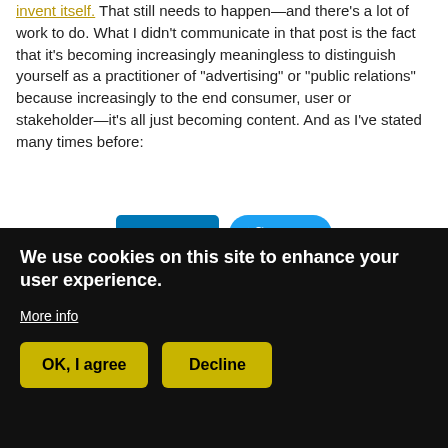invent itself. That still needs to happen—and there's a lot of work to do. What I didn't communicate in that post is the fact that it's becoming increasingly meaningless to distinguish yourself as a practitioner of "advertising" or "public relations" because increasingly to the end consumer, user or stakeholder—it's all just becoming content. And as I've stated many times before:
[Figure (other): LinkedIn Share button and Twitter Tweet button side by side]
Continue Reading →
Cookie consent banner: We use cookies on this site to enhance your user experience. More info. OK, I agree / Decline buttons.